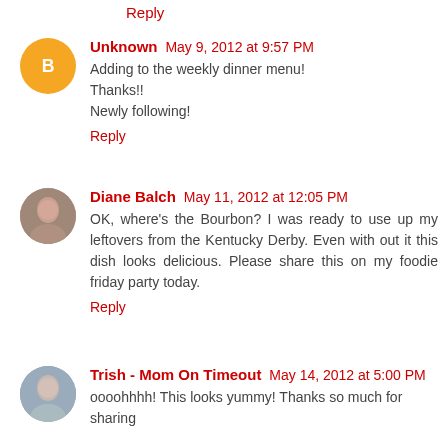Reply
Unknown  May 9, 2012 at 9:57 PM
Adding to the weekly dinner menu!
Thanks!!
Newly following!
Reply
Diane Balch  May 11, 2012 at 12:05 PM
OK, where’s the Bourbon? I was ready to use up my leftovers from the Kentucky Derby. Even with out it this dish looks delicious. Please share this on my foodie friday party today.
Reply
Trish - Mom On Timeout  May 14, 2012 at 5:00 PM
oooohhhh! This looks yummy! Thanks so much for sharing